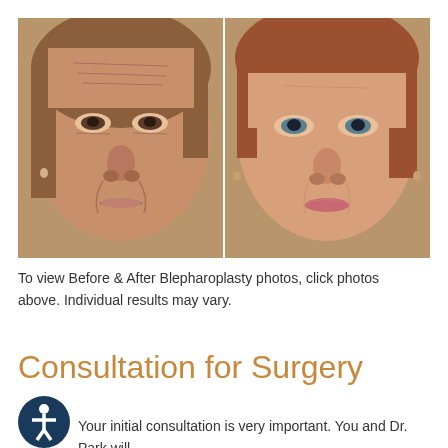[Figure (photo): Before and after side-by-side frontal face photos of a woman who underwent Blepharoplasty. Left photo shows before with more visible wrinkles and drooping around eyes; right photo shows after with more refreshed appearance.]
To view Before & After Blepharoplasty photos, click photos above. Individual results may vary.
Consultation for Surgery
Your initial consultation is very important. You and Dr. Park will